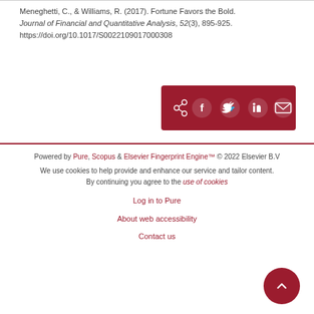Meneghetti, C., & Williams, R. (2017). Fortune Favors the Bold. Journal of Financial and Quantitative Analysis, 52(3), 895-925. https://doi.org/10.1017/S0022109017000308
[Figure (other): Social share buttons bar in dark red/crimson: share icon, Facebook, Twitter, LinkedIn, Email icons]
Powered by Pure, Scopus & Elsevier Fingerprint Engine™ © 2022 Elsevier B.V

We use cookies to help provide and enhance our service and tailor content. By continuing you agree to the use of cookies

Log in to Pure

About web accessibility

Contact us